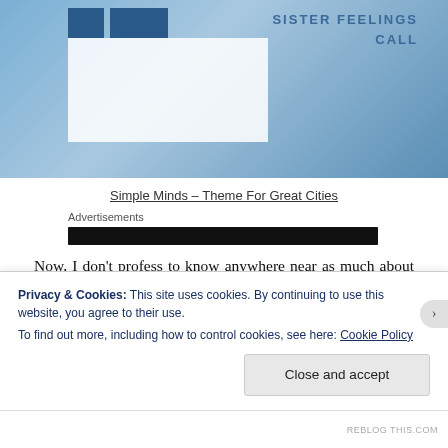[Figure (photo): Album cover for Simple Minds Sister Feelings Call showing blue background with dark blue squares and white rectangle, with text SISTER FEELINGS CALL in blue lettering on the right side]
Simple Minds – Theme For Great Cities
Advertisements
Now, I don't profess to know anywhere near as much about that there dance music as our Swiss, but I do know that got used on a tune recorded by David
Privacy & Cookies: This site uses cookies. By continuing to use this website, you agree to their use.
To find out more, including how to control cookies, see here: Cookie Policy
Close and accept